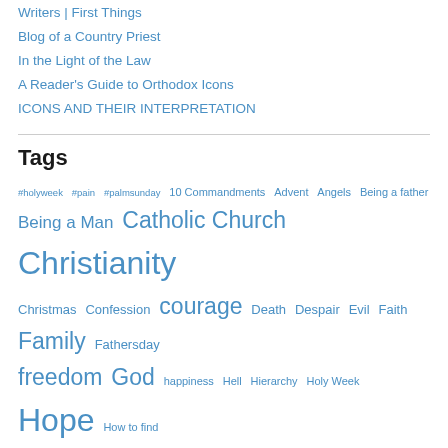Writers | First Things
Blog of a Country Priest
In the Light of the Law
A Reader's Guide to Orthodox Icons
ICONS AND THEIR INTERPRETATION
Tags
#holyweek #pain #palmsunday 10 Commandments Advent Angels Being a father Being a Man Catholic Church Christianity Christmas Confession courage Death Despair Evil Faith Family Fathersday freedom God happiness Hell Hierarchy Holy Week Hope How to find happiness How to pray Human dignity Jesus Joy Love Love advice Marriage Mary Meaning of life Meaning of mercy Plenary Council Pope Francis Prayer priesthood Satan sin spywednesday St John of the Cross St Lucy Suffering Temptation The Devil truth Woman